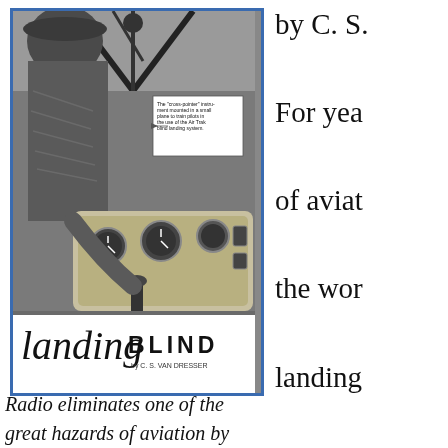[Figure (photo): Black and white photograph of a pilot seated in a small plane cockpit viewed from behind, showing instrument panel. A callout box reads: 'The cross-pointer instrument mounted in a small plane to train pilots in the use of the Air Trak blind landing system.' Below the photo, cursive script reads 'landing BLIND by C. S. Van Dresser'.]
Radio eliminates one of the great hazards of aviation by
For yea of aviat the wor landing that sev the past degree reliabili